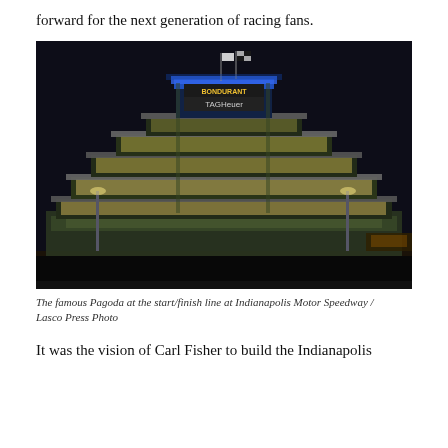forward for the next generation of racing fans.
[Figure (photo): Night photograph of the famous Pagoda building at Indianapolis Motor Speedway, illuminated with blue neon at the top and golden/green interior lights throughout the stepped tower structure. A TAG Heuer sign and checkered flags are visible at the top.]
The famous Pagoda at the start/finish line at Indianapolis Motor Speedway / Lasco Press Photo
It was the vision of Carl Fisher to build the Indianapolis